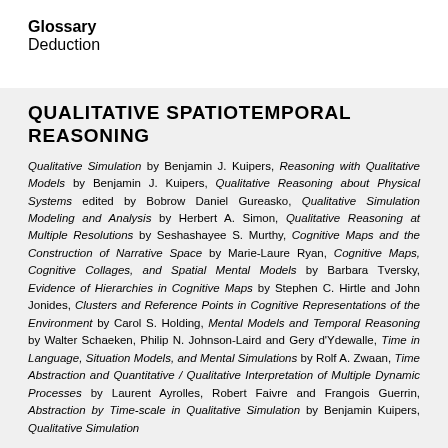Glossary
Deduction
QUALITATIVE SPATIOTEMPORAL REASONING
Qualitative Simulation by Benjamin J. Kuipers, Reasoning with Qualitative Models by Benjamin J. Kuipers, Qualitative Reasoning about Physical Systems edited by Bobrow Daniel Gureasko, Qualitative Simulation Modeling and Analysis by Herbert A. Simon, Qualitative Reasoning at Multiple Resolutions by Seshashayee S. Murthy, Cognitive Maps and the Construction of Narrative Space by Marie-Laure Ryan, Cognitive Maps, Cognitive Collages, and Spatial Mental Models by Barbara Tversky, Evidence of Hierarchies in Cognitive Maps by Stephen C. Hirtle and John Jonides, Clusters and Reference Points in Cognitive Representations of the Environment by Carol S. Holding, Mental Models and Temporal Reasoning by Walter Schaeken, Philip N. Johnson-Laird and Gery d'Ydewalle, Time in Language, Situation Models, and Mental Simulations by Rolf A. Zwaan, Time Abstraction and Quantitative / Qualitative Interpretation of Multiple Dynamic Processes by Laurent Ayrolles, Robert Faivre and Frangois Guerrin, Abstraction by Time-scale in Qualitative Simulation by Benjamin Kuipers, Qualitative Simulation Using Time-scale Abstractions by Benjamin Kuipers and Steven T.